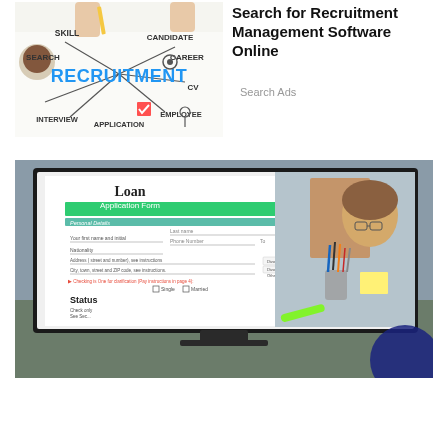[Figure (photo): Recruitment concept illustration showing words: SKILL, CANDIDATE, SEARCH, CAREER, RECRUITMENT in large blue letters, CV, INTERVIEW, APPLICATION, EMPLOYEE with arrows and icons on a white background with hands and coffee cup]
Search for Recruitment Management Software Online
Search Ads
[Figure (photo): Person sitting at a desk looking at a computer monitor displaying a Loan Application Form with Personal Details section including fields for name, phone number, nationality, address, and status. Desk has pens, pencils, scissors, and a yellow sticky note visible.]